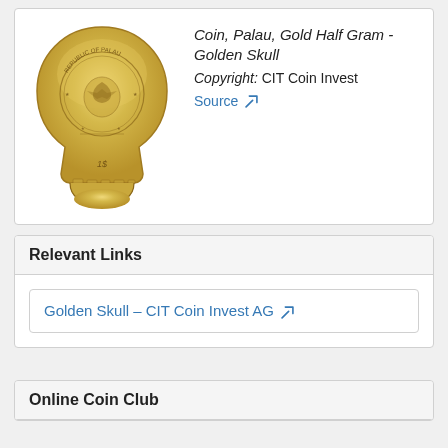[Figure (photo): Gold coin from Palau shaped like a skull, showing the Republic of Palau seal engraved on it, with '1$' at the bottom. The coin is golden/yellow in color.]
Coin, Palau, Gold Half Gram - Golden Skull
Copyright: CIT Coin Invest
Source
Relevant Links
Golden Skull – CIT Coin Invest AG
Online Coin Club